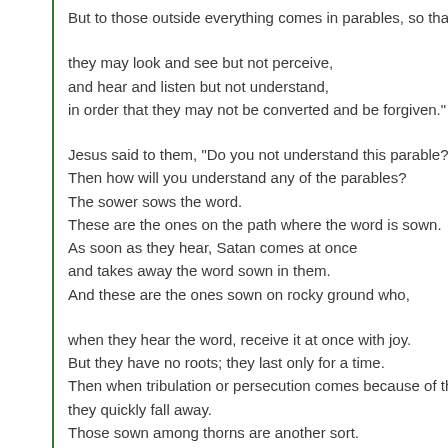But to those outside everything comes in parables, so that
they may look and see but not perceive,
and hear and listen but not understand,
in order that they may not be converted and be forgiven."
Jesus said to them, "Do you not understand this parable?
Then how will you understand any of the parables?
The sower sows the word.
These are the ones on the path where the word is sown.
As soon as they hear, Satan comes at once
and takes away the word sown in them.
And these are the ones sown on rocky ground who,
when they hear the word, receive it at once with joy.
But they have no roots; they last only for a time.
Then when tribulation or persecution comes because of the
they quickly fall away.
Those sown among thorns are another sort.
They are the people who hear the word,